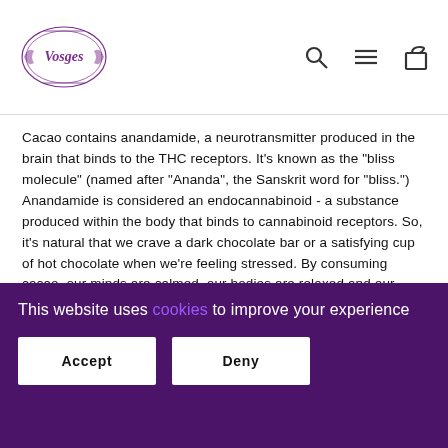Vosges [logo with navigation icons: search, menu, bag]
Cacao contains anandamide, a neurotransmitter produced in the brain that binds to the THC receptors. It's known as the "bliss molecule" (named after "Ananda", the Sanskrit word for "bliss.") Anandamide is considered an endocannabinoid - a substance produced within the body that binds to cannabinoid receptors. So, it's natural that we crave a dark chocolate bar or a satisfying cup of hot chocolate when we're feeling stressed. By consuming cacao, our minds are calmed, our bodies are relaxed and our moods are enhanced. This allows for improved concentration and boosts of energy. All of this from one little raw cacao bean!
[Figure (photo): Overhead photo of green mossy/leafy vegetation with cacao beans visible]
This website uses cookies to improve your experience
Accept | Deny